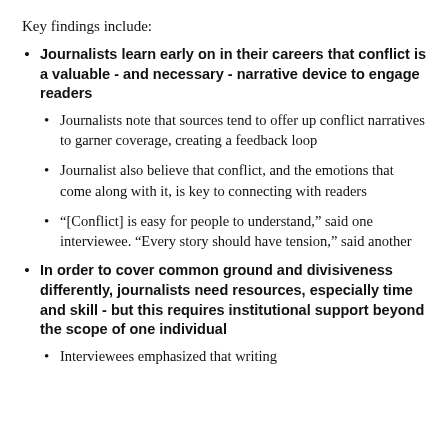Key findings include:
Journalists learn early on in their careers that conflict is a valuable - and necessary - narrative device to engage readers
Journalists note that sources tend to offer up conflict narratives to garner coverage, creating a feedback loop
Journalist also believe that conflict, and the emotions that come along with it, is key to connecting with readers
“[Conflict] is easy for people to understand,” said one interviewee. “Every story should have tension,” said another
In order to cover common ground and divisiveness differently, journalists need resources, especially time and skill - but this requires institutional support beyond the scope of one individual
Interviewees emphasized that writing